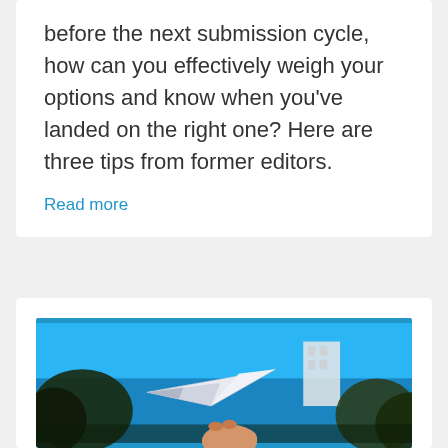before the next submission cycle, how can you effectively weigh your options and know when you've landed on the right one? Here are three tips from former editors.
Read more
[Figure (photo): A hand holding a white paper airplane against a bright blue sky with trees and a building in the background.]